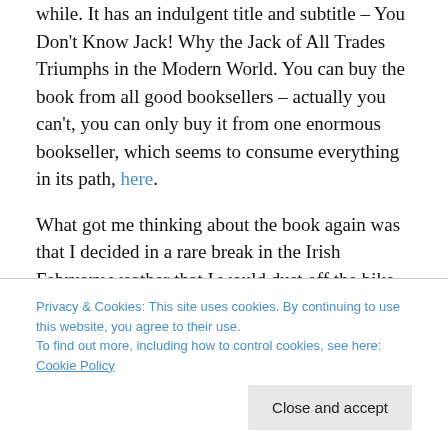while. It has an indulgent title and subtitle – You Don't Know Jack! Why the Jack of All Trades Triumphs in the Modern World. You can buy the book from all good booksellers – actually you can't, you can only buy it from one enormous bookseller, which seems to consume everything in its path, here.
What got me thinking about the book again was that I decided in a rare break in the Irish February weather that I would dust off the bike and give it a spin within 5km of the abode, in keeping with the seemingly eternal restrictions
let you go on road and bash it about a bit and kind of are
Privacy & Cookies: This site uses cookies. By continuing to use this website, you agree to their use. To find out more, including how to control cookies, see here: Cookie Policy